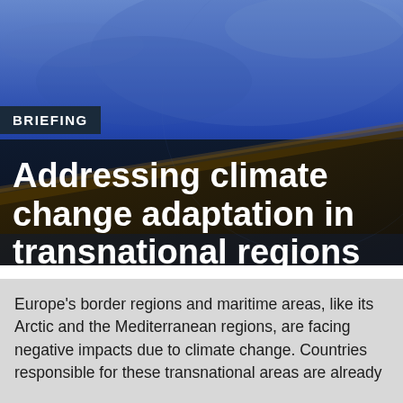[Figure (illustration): Cover image with blue gradient background suggesting sky and a dark diagonal shape suggesting a globe or earth surface, with a blue-toned atmospheric visual]
BRIEFING
Addressing climate change adaptation in transnational regions in Europe
Europe's border regions and maritime areas, like its Arctic and the Mediterranean regions, are facing negative impacts due to climate change. Countries responsible for these transnational areas are already